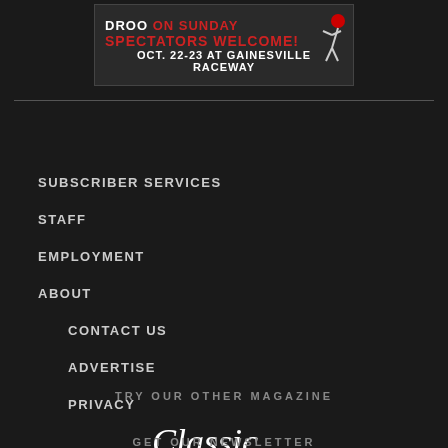[Figure (illustration): Advertisement banner: 'DROO ON SUNDAY SPECTATORS WELCOME! OCT. 22-23 AT GAINESVILLE RACEWAY' with cartoon figure on right]
SUBSCRIBER SERVICES
CONTACT US
STAFF
ADVERTISE
EMPLOYMENT
PRIVACY
ABOUT
TRY OUR OTHER MAGAZINE
[Figure (logo): Classic Motorsports magazine logo in white serif font on dark background]
GET OUR NEWSLETTER